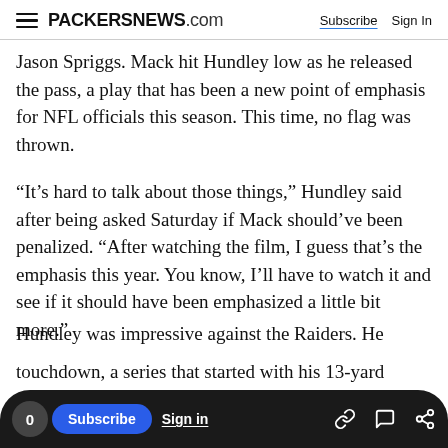PACKERSNEWS.com — Subscribe | Sign In
Jason Spriggs. Mack hit Hundley low as he released the pass, a play that has been a new point of emphasis for NFL officials this season. This time, no flag was thrown.
“It’s hard to talk about those things,” Hundley said after being asked Saturday if Mack should’ve been penalized. “After watching the film, I guess that’s the emphasis this year. You know, I’ll have to watch it and see if it should have been emphasized a little bit more.”
Hundley was impressive against the Raiders. He
touchdown, a series that started with his 13-yard